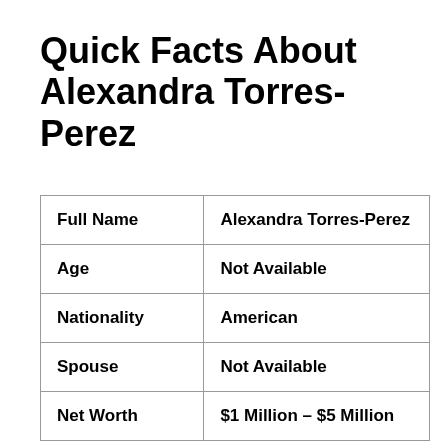Quick Facts About Alexandra Torres-Perez
| Full Name | Alexandra Torres-Perez |
| Age | Not Available |
| Nationality | American |
| Spouse | Not Available |
| Net Worth | $1 Million – $5 Million |